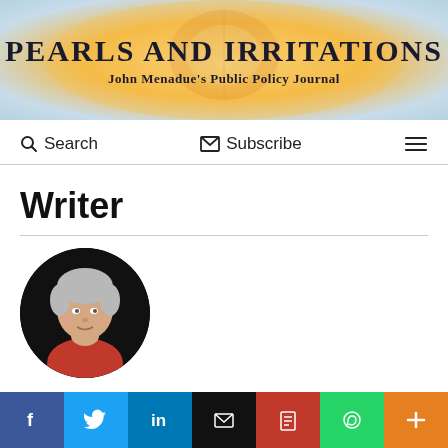[Figure (illustration): Pearls and Irritations website banner with title and subtitle over a warm golden-blue gradient background]
PEARLS AND IRRITATIONS
John Menadue's Public Policy Journal
Search   Subscribe   ☰
Writer
[Figure (photo): Circular portrait photo of Jocelyn Chey, an older woman with short white/grey hair wearing a red top, against a black background]
Jocelyn Chey
Jocelyn Chey is Visiting Professor at the University of
[Figure (infographic): Social media sharing bar with Facebook, Twitter, LinkedIn, Email, PDF, WhatsApp, and More buttons]